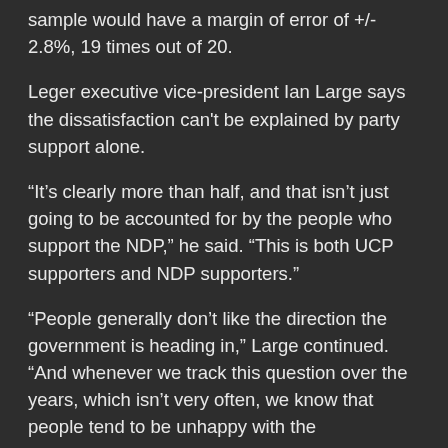sample would have a margin of error of +/- 2.8%, 19 times out of 20.
Leger executive vice-president Ian Large says the dissatisfaction can't be explained by party support alone.
“It’s clearly more than half, and that isn’t just going to be accounted for by the people who support the NDP,” he said. “This is both UCP supporters and NDP supporters.”
“People generally don’t like the direction the government is heading in,” Large continued. “And whenever we track this question over the years, which isn’t very often, we know that people tend to be unhappy with the government. But this is remarkably high.”
On specific issues, 81% of Albertans believed that the provincial government has done a “poor” or “fair” job at handling the COVID-19 pandemic overall, while 18% said it